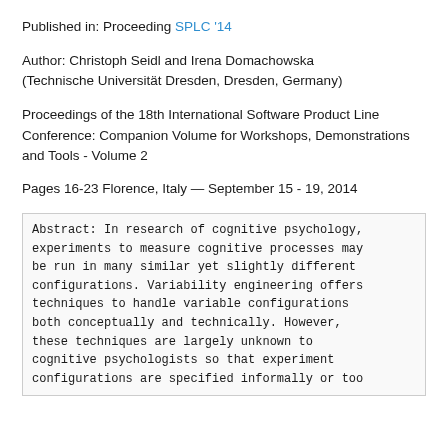Published in: Proceeding SPLC '14
Author: Christoph Seidl and Irena Domachowska (Technische Universität Dresden, Dresden, Germany)
Proceedings of the 18th International Software Product Line Conference: Companion Volume for Workshops, Demonstrations and Tools - Volume 2
Pages 16-23 Florence, Italy — September 15 - 19, 2014
Abstract: In research of cognitive psychology, experiments to measure cognitive processes may be run in many similar yet slightly different configurations. Variability engineering offers techniques to handle variable configurations both conceptually and technically. However, these techniques are largely unknown to cognitive psychologists so that experiment configurations are specified informally or too